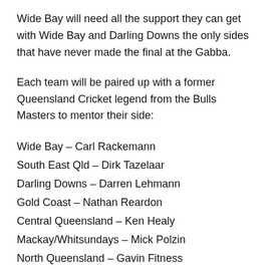Wide Bay will need all the support they can get with Wide Bay and Darling Downs the only sides that have never made the final at the Gabba.
Each team will be paired up with a former Queensland Cricket legend from the Bulls Masters to mentor their side:
Wide Bay – Carl Rackemann
South East Qld – Dirk Tazelaar
Darling Downs – Darren Lehmann
Gold Coast – Nathan Reardon
Central Queensland – Ken Healy
Mackay/Whitsundays – Mick Polzin
North Queensland – Gavin Fitness
Far North Qld – Jimmy Maher
The teams will be split into two pools of four and the top